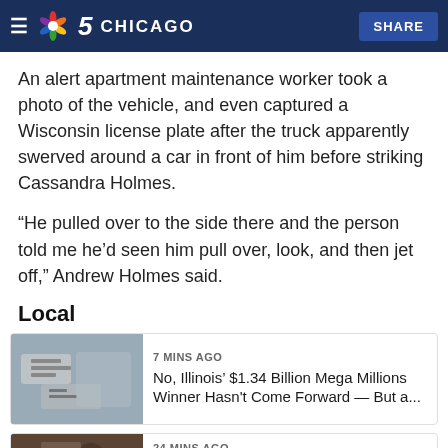NBC 5 Chicago — SHARE
An alert apartment maintenance worker took a photo of the vehicle, and even captured a Wisconsin license plate after the truck apparently swerved around a car in front of him before striking Cassandra Holmes.
“He pulled over to the side there and the person told me he’d seen him pull over, look, and then jet off,” Andrew Holmes said.
Local
[Figure (photo): Thumbnail image of lottery tickets]
7 MINS AGO
No, Illinois’ $1.34 Billion Mega Millions Winner Hasn’t Come Forward — But a...
[Figure (photo): Thumbnail image partially visible at bottom]
24 MINS AGO